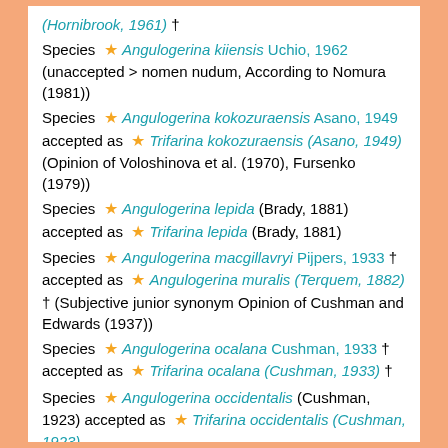(Hornibrook, 1961) †
Species ★ Angulogerina kiiensis Uchio, 1962 (unaccepted > nomen nudum, According to Nomura (1981))
Species ★ Angulogerina kokozuraensis Asano, 1949 accepted as ★ Trifarina kokozuraensis (Asano, 1949) (Opinion of Voloshinova et al. (1970), Fursenko (1979))
Species ★ Angulogerina lepida (Brady, 1881) accepted as ★ Trifarina lepida (Brady, 1881)
Species ★ Angulogerina macgillavryi Pijpers, 1933 † accepted as ★ Angulogerina muralis (Terquem, 1882) † (Subjective junior synonym Opinion of Cushman and Edwards (1937))
Species ★ Angulogerina ocalana Cushman, 1933 † accepted as ★ Trifarina ocalana (Cushman, 1933) †
Species ★ Angulogerina occidentalis (Cushman, 1923) accepted as ★ Trifarina occidentalis (Cushman, 1923)
Species ★ Angulogerina ototara Hornibrook, 1961 † accepted as ★ Trifarina ototara (Hornibrook, 1961) †